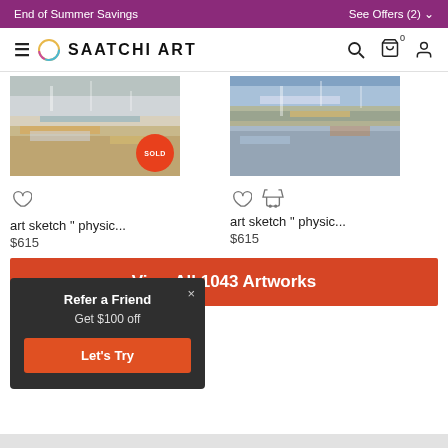End of Summer Savings    See Offers (2)
[Figure (screenshot): Saatchi Art navigation bar with hamburger menu, logo, search, cart, and user icons]
[Figure (photo): Abstract art painting with mixed blues, yellows, whites - marked SOLD]
[Figure (photo): Abstract art painting with mixed blues, yellows, whites - available for purchase]
art sketch " physic...
$615
art sketch " physic...
$615
View All 1043 Artworks
Refer a Friend
Get $100 off
Let's Try